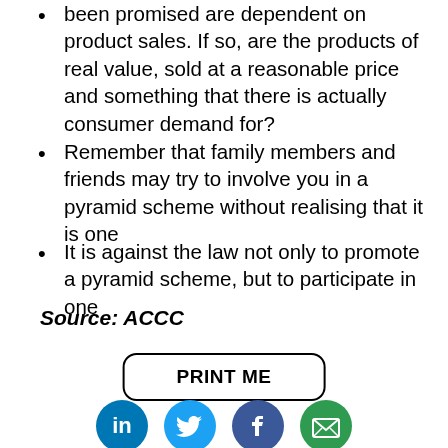been promised are dependent on product sales. If so, are the products of real value, sold at a reasonable price and something that there is actually consumer demand for?
Remember that family members and friends may try to involve you in a pyramid scheme without realising that it is one
It is against the law not only to promote a pyramid scheme, but to participate in one
Source: ACCC
[Figure (other): PRINT ME button with rounded rectangle border]
[Figure (other): Social sharing icons: LinkedIn (blue), Twitter (light blue), Facebook (dark blue), Email (green), with Share This label below]